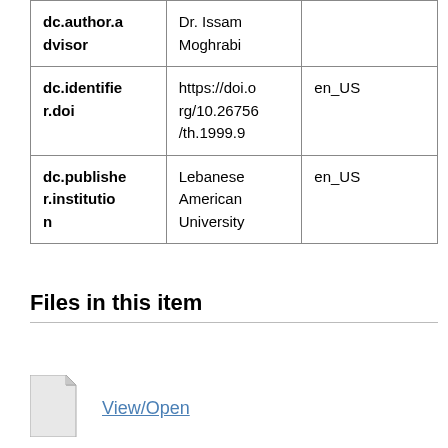| dc.author.advisor | Dr. Issam Moghrabi |  |
| dc.identifier.doi | https://doi.org/10.26756/th.1999.9 | en_US |
| dc.publisher.institution | Lebanese American University | en_US |
Files in this item
View/Open